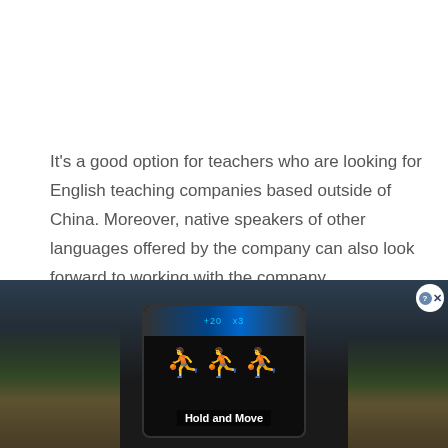It's a good option for teachers who are looking for English teaching companies based outside of China. Moreover, native speakers of other languages offered by the company can also look forward to working with the company.

Another good thing about the company is that they
[Figure (photo): Advertisement banner at the bottom showing a dark outdoor scene with trees and a fitness/game device displaying cyan human figures with text 'Hold and Move'. Close button in top right corner.]